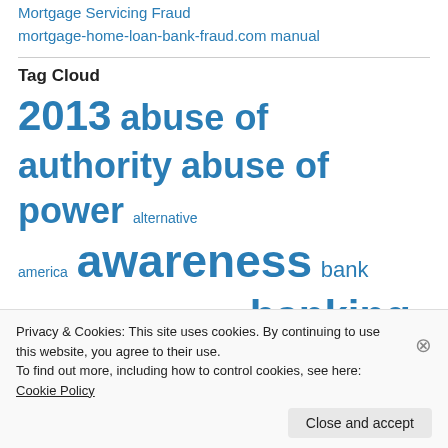Mortgage Servicing Fraud
mortgage-home-loan-bank-fraud.com manual
Tag Cloud
2013 abuse of authority abuse of power alternative america awareness bank banking banking cartel banking fraud breach of trust central bank change china consciousness shift conspiracy control creative crime
Privacy & Cookies: This site uses cookies. By continuing to use this website, you agree to their use.
To find out more, including how to control cookies, see here: Cookie Policy
Close and accept